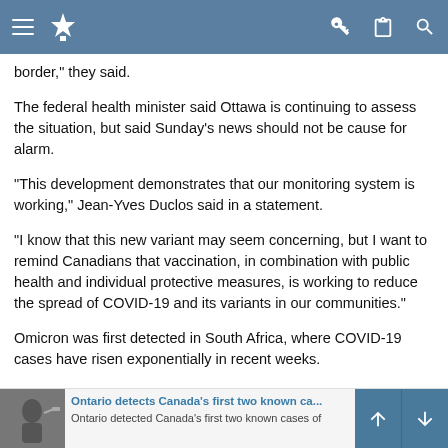[Navigation bar with menu, logo, key, clipboard, search icons]
border,” they said.
The federal health minister said Ottawa is continuing to assess the situation, but said Sunday’s news should not be cause for alarm.
“This development demonstrates that our monitoring system is working,” Jean-Yves Duclos said in a statement.
“I know that this new variant may seem concerning, but I want to remind Canadians that vaccination, in combination with public health and individual protective measures, is working to reduce the spread of COVID-19 and its variants in our communities.”
Omicron was first detected in South Africa, where COVID-19 cases have risen exponentially in recent weeks.
The World Health Organization has said “preliminary evidence suggests an increased risk of reinfection with this variant” compared to other variants, and scientists say it could also be more contagious.
Ontario detects Canada’s first two known ca... [related article title]
Ontario detected Canada’s first two known cases of